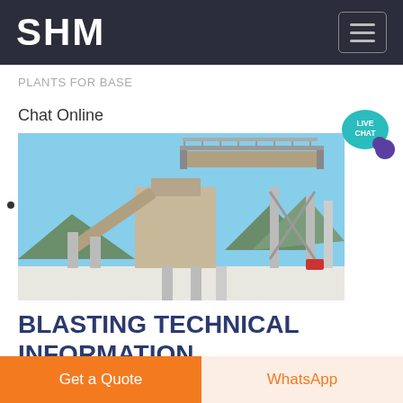SHM
PLANTS FOR BASE
Chat Online
[Figure (photo): Industrial mining/crushing plant with conveyor belts and structural steel framework against a blue sky, with mountains in the background.]
BLASTING TECHNICAL INFORMATION
Get a Quote
WhatsApp